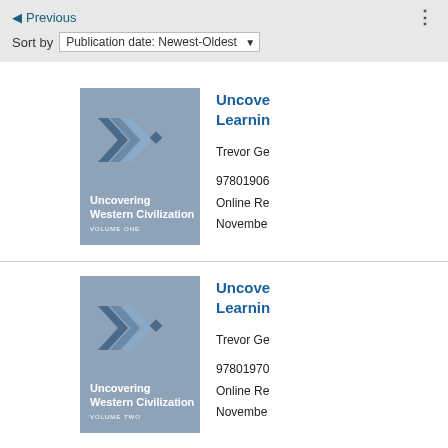◄ Previous | Sort by Publication date: Newest-Oldest
[Figure (illustration): Book cover: Uncovering Western Civilization Volume One, blue-gray background with chevron logo]
Uncovering… Learning…
Trevor Ge…
9780190…
Online Re…
Novembe…
[Figure (illustration): Book cover: Uncovering Western Civilization Volume Two, blue-gray background with chevron logo]
Uncovering… Learning…
Trevor Ge…
9780197…
Online Re…
Novembe…